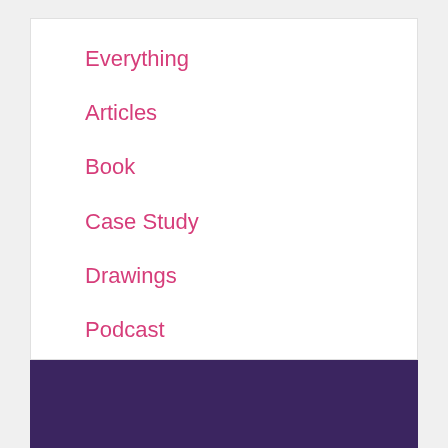Everything
Articles
Book
Case Study
Drawings
Podcast
Private Equity
Team
[Figure (other): Dark purple/indigo colored bar at the bottom of the page]